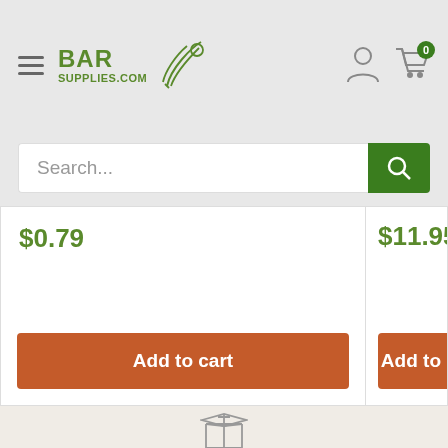[Figure (logo): BarSupplies.com logo with green text and fork/cocktail icon]
Search...
$0.79
Add to cart
$11.95
Add to
[Figure (illustration): Package/box icon indicating shipping]
Same Day Shipping
If you place your order by 2PM EST, most orders will ship the